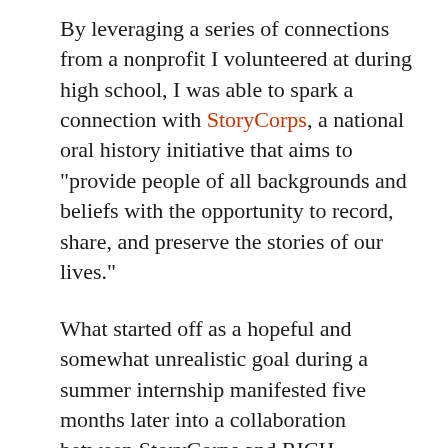By leveraging a series of connections from a nonprofit I volunteered at during high school, I was able to spark a connection with StoryCorps, a national oral history initiative that aims to “provide people of all backgrounds and beliefs with the opportunity to record, share, and preserve the stories of our lives.”
What started off as a hopeful and somewhat unrealistic goal during a summer internship manifested five months later into a collaboration between StoryCorps and RICH, resulting in two full days of recording here in Providence.
So much of our progress is limited by a lack of understanding, enabled by the distance we keep ourselves from these issues, the questions we don’t care to ask, and our failure to listen. The